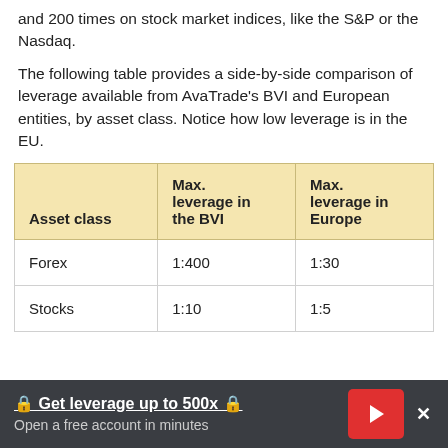and 200 times on stock market indices, like the S&P or the Nasdaq.
The following table provides a side-by-side comparison of leverage available from AvaTrade's BVI and European entities, by asset class. Notice how low leverage is in the EU.
| Asset class | Max. leverage in the BVI | Max. leverage in Europe |
| --- | --- | --- |
| Forex | 1:400 | 1:30 |
| Stocks | 1:10 | 1:5 |
🔒 Get leverage up to 500x 🔒
Open a free account in minutes